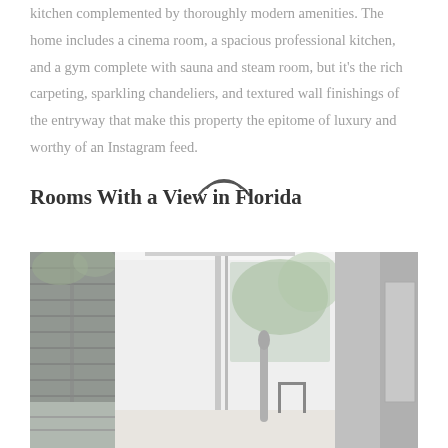kitchen complemented by thoroughly modern amenities. The home includes a cinema room, a spacious professional kitchen, and a gym complete with sauna and steam room, but it's the rich carpeting, sparkling chandeliers, and textured wall finishings of the entryway that make this property the epitome of luxury and worthy of an Instagram feed.
Rooms With a View in Florida
[Figure (photo): Interior photo of a modern luxury home showing floor-to-ceiling windows with shutters on the left, a tall bright white hallway, and a minimalist interior with a standing sculptural piece and chair visible in the background.]